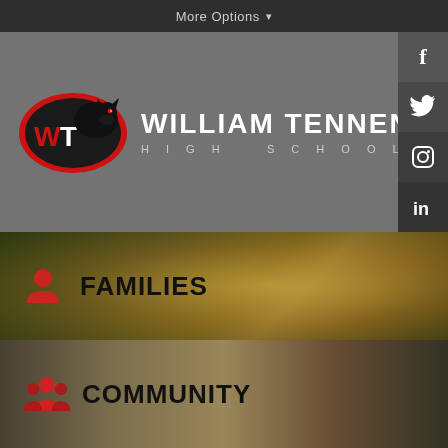More Options ▾
[Figure (logo): William Tennent High School logo with panther mascot and WT letters in red oval, alongside school name text in white on gray background]
FAMILIES
COMMUNITY